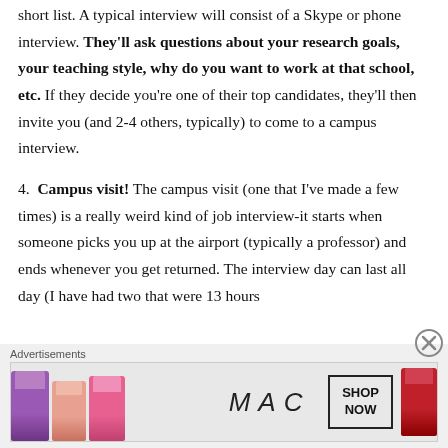short list. A typical interview will consist of a Skype or phone interview. They'll ask questions about your research goals, your teaching style, why do you want to work at that school, etc. If they decide you're one of their top candidates, they'll then invite you (and 2-4 others, typically) to come to a campus interview.
4. Campus visit! The campus visit (one that I've made a few times) is a really weird kind of job interview-it starts when someone picks you up at the airport (typically a professor) and ends whenever you get returned. The interview day can last all day (I have had two that were 13 hours
Advertisements
[Figure (illustration): MAC cosmetics advertisement showing lipsticks in purple, peach, pink, and red colors with MAC logo in the center and a SHOP NOW button on the right]